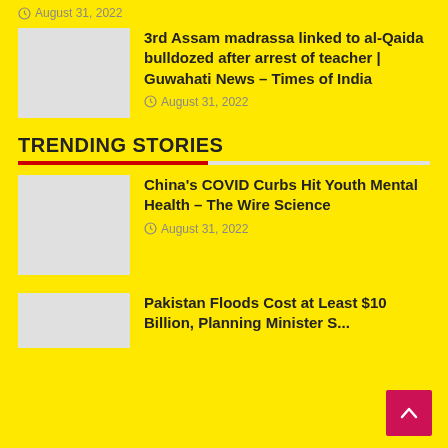August 31, 2022
3rd Assam madrassa linked to al-Qaida bulldozed after arrest of teacher | Guwahati News – Times of India
August 31, 2022
TRENDING STORIES
China's COVID Curbs Hit Youth Mental Health – The Wire Science
August 31, 2022
Pakistan Floods Cost at Least $10 Billion, Planning Minister S...